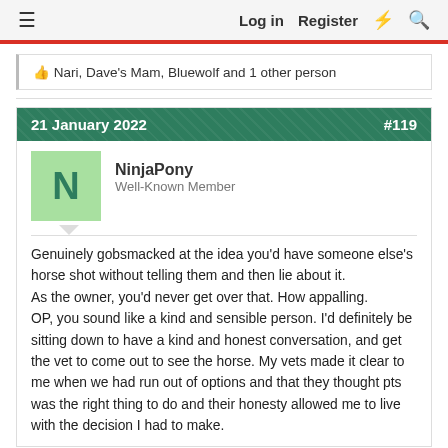≡   Log in   Register   ⚡   🔍
👍 Nari, Dave's Mam, Bluewolf and 1 other person
21 January 2022   #119
NinjaPony
Well-Known Member
Genuinely gobsmacked at the idea you'd have someone else's horse shot without telling them and then lie about it.
As the owner, you'd never get over that. How appalling.
OP, you sound like a kind and sensible person. I'd definitely be sitting down to have a kind and honest conversation, and get the vet to come out to see the horse. My vets made it clear to me when we had run out of options and that they thought pts was the right thing to do and their honesty allowed me to live with the decision I had to make.